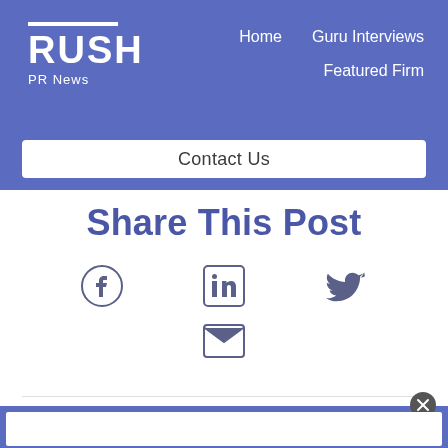RUSH PR News — Home | Guru Interviews | Featured Firm | Contact Us
Share This Post
[Figure (other): Social share icons: Facebook, LinkedIn, Twitter, Email]
[Figure (other): Bottom blue section with white content box and close button]